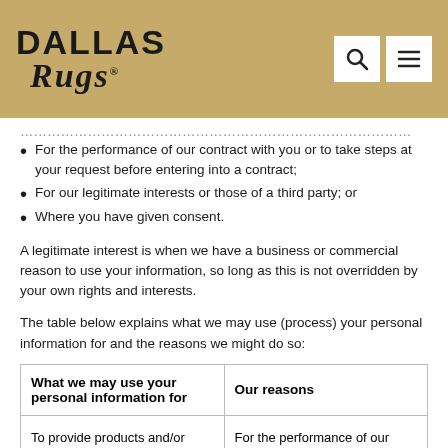Dallas Rugs
For the performance of our contract with you or to take steps at your request before entering into a contract;
For our legitimate interests or those of a third party; or
Where you have given consent.
A legitimate interest is when we have a business or commercial reason to use your information, so long as this is not overridden by your own rights and interests.
The table below explains what we may use (process) your personal information for and the reasons we might do so:
| What we may use your personal information for | Our reasons |
| --- | --- |
| To provide products and/or services to you | For the performance of our contract with you or to take steps at your request before |